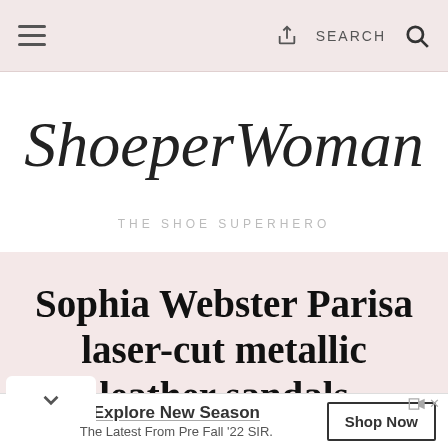≡  [share]  SEARCH  🔍
ShoeperWoman
THE SHOE SUPERHERO
Sophia Webster Parisa laser-cut metallic leather sandals
Explore New Season  The Latest From Pre Fall '22 SIR.  Shop Now